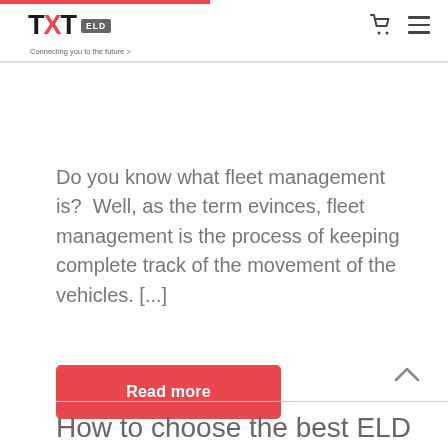TXT ELD – Connecting you to the future >
Do you know what fleet management is?  Well, as the term evinces, fleet management is the process of keeping complete track of the movement of the vehicles. [...]
Read more
How to choose the best ELD